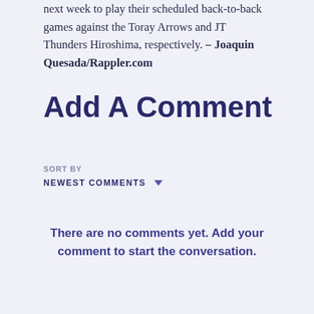next week to play their scheduled back-to-back games against the Toray Arrows and JT Thunders Hiroshima, respectively. – Joaquin Quesada/Rappler.com
Add A Comment
SORT BY
NEWEST COMMENTS
There are no comments yet. Add your comment to start the conversation.